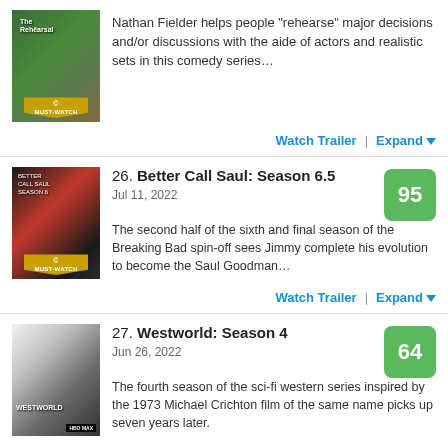Nathan Fielder helps people "rehearse" major decisions and/or discussions with the aide of actors and realistic sets in this comedy series…
Watch Trailer | Expand ▼
26. Better Call Saul: Season 6.5
Jul 11, 2022
The second half of the sixth and final season of the Breaking Bad spin-off sees Jimmy complete his evolution to become the Saul Goodman…
Watch Trailer | Expand ▼
27. Westworld: Season 4
Jun 26, 2022
The fourth season of the sci-fi western series inspired by the 1973 Michael Crichton film of the same name picks up seven years later.
Watch Trailer | Expand ▼